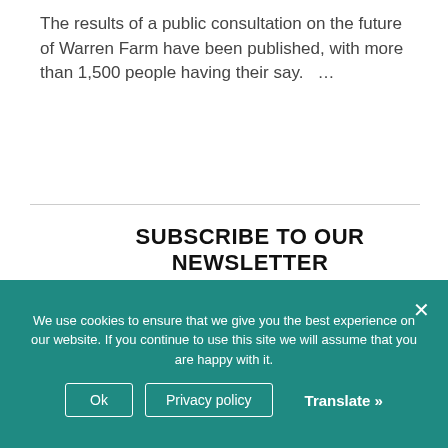The results of a public consultation on the future of Warren Farm have been published, with more than 1,500 people having their say.   …
SUBSCRIBE TO OUR NEWSLETTER
It is simple to register to receive fortnightly email updates from Around Ealing Extra
SUBSCRIBE
We use cookies to ensure that we give you the best experience on our website. If you continue to use this site we will assume that you are happy with it.
Ok
Privacy policy
Translate »